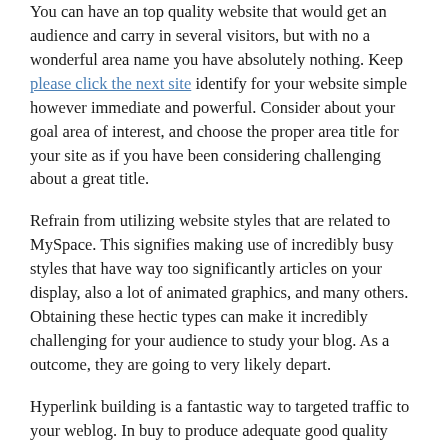You can have an top quality website that would get an audience and carry in several visitors, but with no a wonderful area name you have absolutely nothing. Keep please click the next site identify for your website simple however immediate and powerful. Consider about your goal area of interest, and choose the proper area title for your site as if you have been considering challenging about a great title.
Refrain from utilizing website styles that are related to MySpace. This signifies making use of incredibly busy styles that have way too significantly articles on your display, also a lot of animated graphics, and many others. Obtaining these hectic types can make it incredibly challenging for your audience to study your blog. As a outcome, they are going to very likely depart.
Hyperlink building is a fantastic way to targeted traffic to your weblog. In buy to produce adequate good quality links you require to submit your site to internet directories like DMOZ, Aviva and other blog directories. Performing this results in incoming hyperlinks which support your site get spidered, indexed and rated higher by look for engines, all of which drives far more targeted traffic to your website.